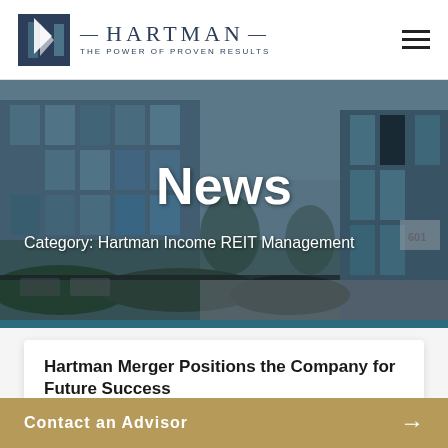HARTMAN — THE POWER OF PROVEN RESULTS
[Figure (photo): Exterior of a modern glass office building with reflective windows, trees, and a walkway. Building number 601 visible on right side.]
News
Category: Hartman Income REIT Management
Hartman Merger Positions the Company for Future Success
Contact an Advisor